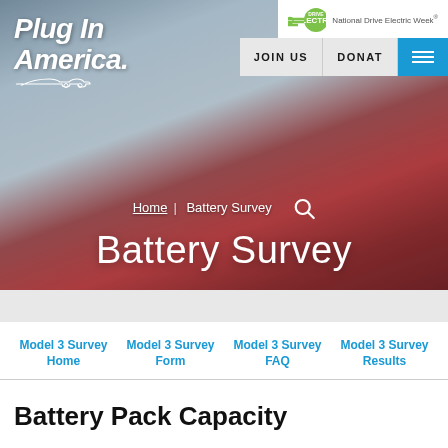[Figure (screenshot): Hero banner of the Plug In America website showing Battery Survey page with a red car background. Top-left logo reads 'Plug In America.' Top-right shows Drive Electric / National Drive Electric Week badge, JOIN US and DONAT navigation buttons, and a blue hamburger menu.]
Battery Survey
Home | Battery Survey
Model 3 Survey Home
Model 3 Survey Form
Model 3 Survey FAQ
Model 3 Survey Results
Battery Pack Capacity